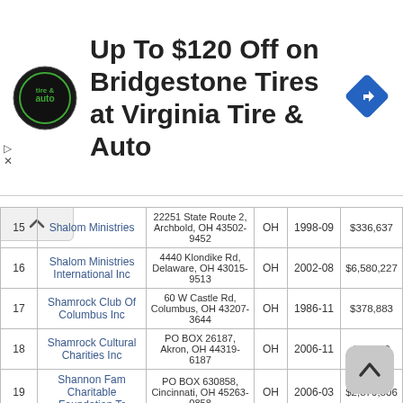[Figure (advertisement): Virginia Tire & Auto advertisement banner: circular logo with 'tire & auto' text, headline 'Up To $120 Off on Bridgestone Tires at Virginia Tire & Auto', blue diamond navigation icon on the right.]
| # | Name | Address | State | Years | Amount |
| --- | --- | --- | --- | --- | --- |
| 15 | Shalom Ministries | 22251 State Route 2, Archbold, OH 43502-9452 | OH | 1998-09 | $336,637 |
| 16 | Shalom Ministries International Inc | 4440 Klondike Rd, Delaware, OH 43015-9513 | OH | 2002-08 | $6,580,227 |
| 17 | Shamrock Club Of Columbus Inc | 60 W Castle Rd, Columbus, OH 43207-3644 | OH | 1986-11 | $378,883 |
| 18 | Shamrock Cultural Charities Inc | PO BOX 26187, Akron, OH 44319-6187 | OH | 2006-11 | $83,169 |
| 19 | Shannon Fam Charitable Foundation Tr | PO BOX 630858, Cincinnati, OH 45263-0858 | OH | 2006-03 | $2,879,806 |
| 20 | Sharbek Family Foundation | 32282 Dakota Run, Avon Lake, OH 44012-2612 | OH | 1994-08 | $17,216 |